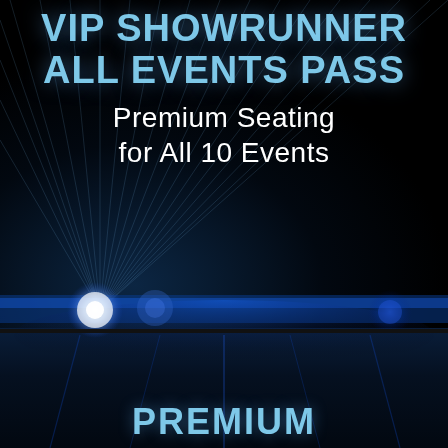VIP SHOWRUNNER ALL EVENTS PASS
Premium Seating for All 10 Events
[Figure (illustration): Dark background with blue spotlight rays emanating from lower left, blue bokeh light effects, and a blue reflective floor surface in the lower portion of the image. A gray tab with a '+' symbol appears in the upper right of the lower panel.]
PREMIUM